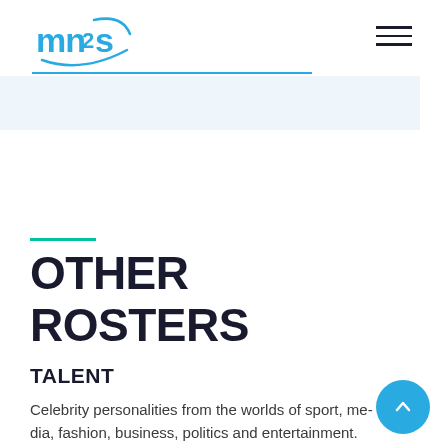mn2s
OTHER ROSTERS
TALENT
Celebrity personalities from the worlds of sport, media, fashion, business, politics and entertainment.